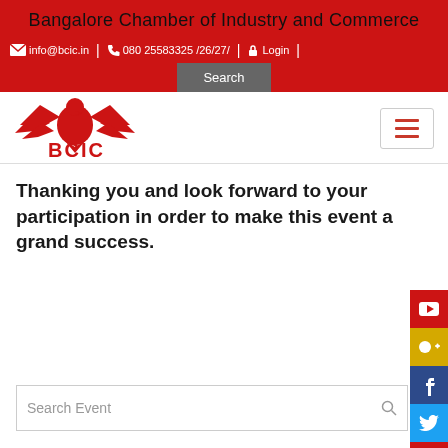Bangalore Chamber of Industry and Commerce
info@bcic.in | 080 25583325 /26/27/ | Login
[Figure (logo): BCIC eagle logo in red with text BCIC below]
Thanking you and look forward to your participation in order to make this event a grand success.
Search Event